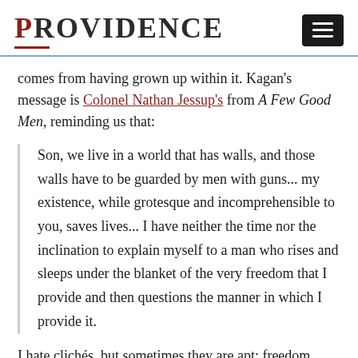PROVIDENCE
comes from having grown up within it. Kagan's message is Colonel Nathan Jessup's from A Few Good Men, reminding us that:
Son, we live in a world that has walls, and those walls have to be guarded by men with guns... my existence, while grotesque and incomprehensible to you, saves lives... I have neither the time nor the inclination to explain myself to a man who rises and sleeps under the blanket of the very freedom that I provide and then questions the manner in which I provide it.
I hate clichés, but sometimes they are apt: freedom